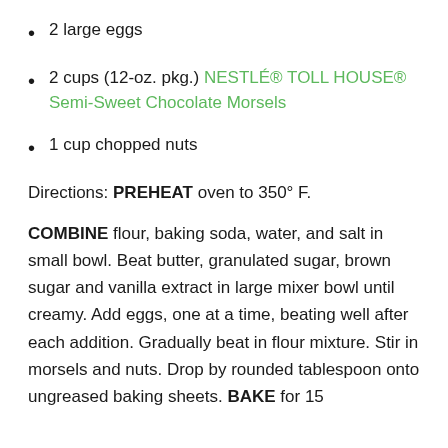2 large eggs
2 cups (12-oz. pkg.) NESTLÉ® TOLL HOUSE® Semi-Sweet Chocolate Morsels
1 cup chopped nuts
Directions: PREHEAT oven to 350° F.
COMBINE flour, baking soda, water, and salt in small bowl. Beat butter, granulated sugar, brown sugar and vanilla extract in large mixer bowl until creamy. Add eggs, one at a time, beating well after each addition. Gradually beat in flour mixture. Stir in morsels and nuts. Drop by rounded tablespoon onto ungreased baking sheets. BAKE for 15